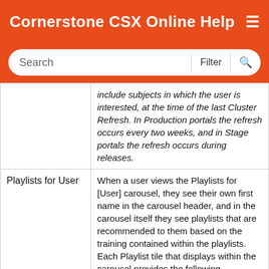Cornerstone CSX Online Help
Search
|  |  |
| --- | --- |
|  | include subjects in which the user is interested, at the time of the last Cluster Refresh. In Production portals the refresh occurs every two weeks, and in Stage portals the refresh occurs during releases. |
| Playlists for User | When a user views the Playlists for [User] carousel, they see their own first name in the carousel header, and in the carousel itself they see playlists that are recommended to them based on the training contained within the playlists. Each Playlist tile that displays within the carousel provides the following information: |